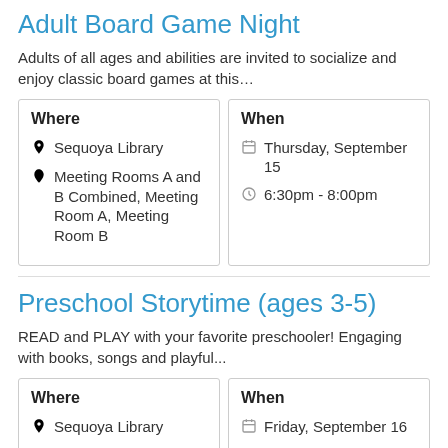Adult Board Game Night
Adults of all ages and abilities are invited to socialize and enjoy classic board games at this…
| Where | When |
| --- | --- |
| 🏛 Sequoya Library
📍 Meeting Rooms A and B Combined, Meeting Room A, Meeting Room B | 📅 Thursday, September 15
🕐 6:30pm - 8:00pm |
Preschool Storytime (ages 3-5)
READ and PLAY with your favorite preschooler! Engaging with books, songs and playful...
| Where | When |
| --- | --- |
| 🏛 Sequoya Library | 📅 Friday, September 16 |